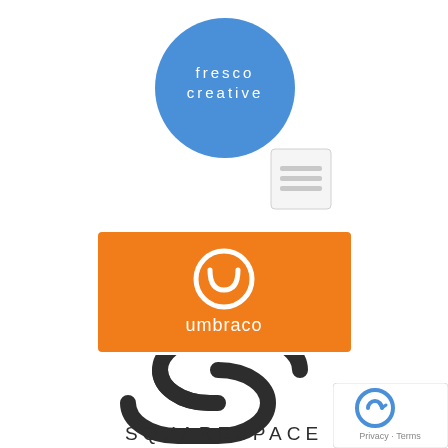[Figure (logo): Fresco Creative logo: blue circle with white text 'fresco creative' in lowercase letters]
[Figure (logo): Small light gray square icon with three horizontal lines (hamburger/menu icon style), with light gray border]
[Figure (logo): Umbraco logo: orange rectangle with white circle icon containing a U-smile symbol and white text 'umbraco' below]
[Figure (logo): Squarespace logo: stylized interlocking S-shapes in dark charcoal/black, above the text 'SQUARESPACE' in large spaced capital letters]